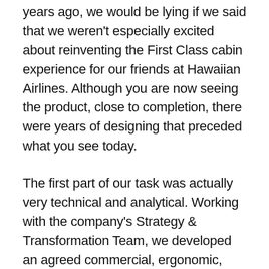years ago, we would be lying if we said that we weren't especially excited about reinventing the First Class cabin experience for our friends at Hawaiian Airlines. Although you are now seeing the product, close to completion, there were years of designing that preceded what you see today.
The first part of our task was actually very technical and analytical. Working with the company's Strategy & Transformation Team, we developed an agreed commercial, ergonomic, operations and brand experience-led criteria and analyzed literally